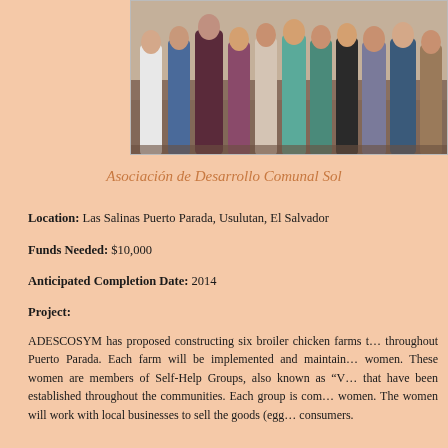[Figure (photo): Group photo of women standing together outdoors, partially cropped showing bodies from waist down, wearing colorful clothing]
Asociación de Desarrollo Comunal Sol
Location: Las Salinas Puerto Parada, Usulutan, El Salvador
Funds Needed: $10,000
Anticipated Completion Date: 2014
Project:
ADESCOSYM has proposed constructing six broiler chicken farms throughout Puerto Parada. Each farm will be implemented and maintained by women. These women are members of Self-Help Groups, also known as "V" that have been established throughout the communities. Each group is composed of women. The women will work with local businesses to sell the goods (eggs) to consumers.